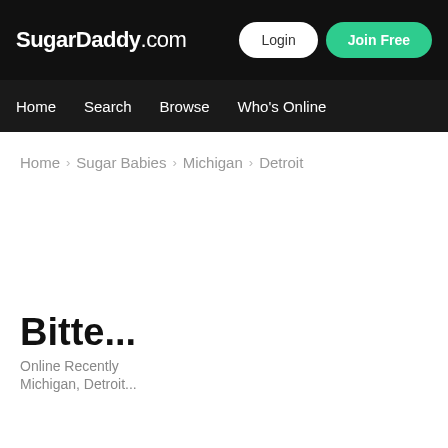SugarDaddy.com
Home  Search  Browse  Who's Online
Home > Sugar Babies > Michigan > Detroit
Bitte...
Online Recently
Michigan, Detroit...